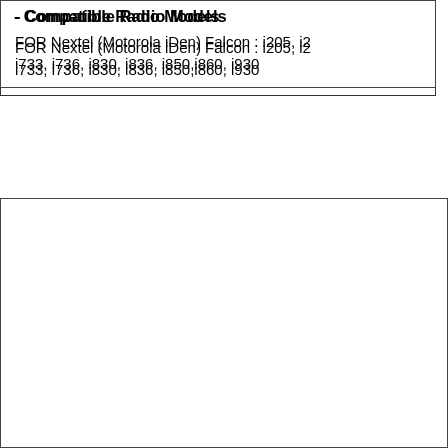- Compatible Radio Models
FOR Nextel (Motorola iDen) Falcon : i205, i2... i733, i736, i830, i836, i850,i860, i930